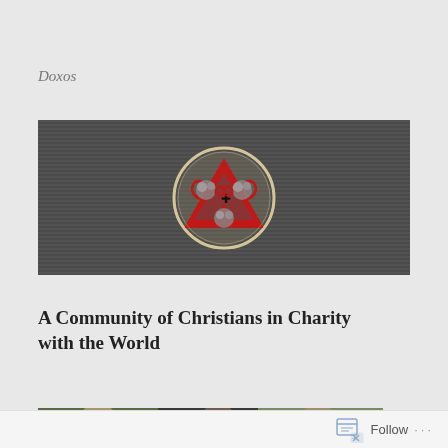Doxos
[Figure (illustration): A banner image with a dark grey textured/striped background featuring a decorative circular red and beige Celtic-style triskelion/spiral symbol with a red triangle pointing downward, centered in a round emblem.]
A Community of Christians in Charity with the World
[Figure (photo): A partial photo strip showing people, cropped at the bottom of the page.]
Follow ...